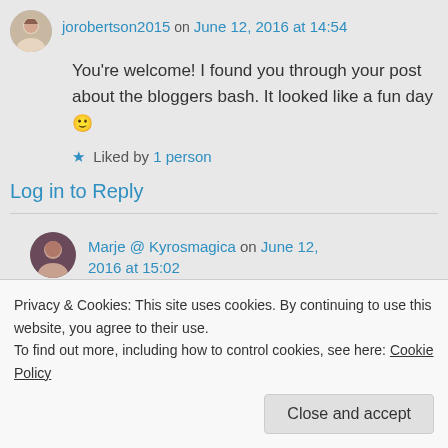jorobertson2015 on June 12, 2016 at 14:54
You're welcome! I found you through your post about the bloggers bash. It looked like a fun day 🙂
★ Liked by 1 person
Log in to Reply
Marje @ Kyrosmagica on June 12, 2016 at 15:02
Privacy & Cookies: This site uses cookies. By continuing to use this website, you agree to their use. To find out more, including how to control cookies, see here: Cookie Policy
Close and accept